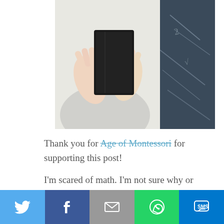[Figure (photo): Person holding a dark book or tablet in front of their face, with hands visible and a chalkboard in the background]
Thank you for Age of Montessori for supporting this post!
I'm scared of math. I'm not sure why or what happened in my childhood that I would fear something that I use in daily life. But I don't want my children to have the same fear. I am their example for how they see the world. I know they
[Figure (infographic): Social sharing bar with Twitter, Facebook, Email, WhatsApp, and SMS buttons]